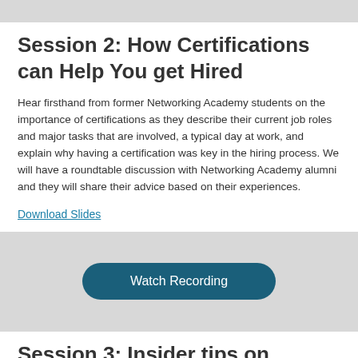[Figure (other): Gray banner bar at top of page]
Session 2: How Certifications can Help You get Hired
Hear firsthand from former Networking Academy students on the importance of certifications as they describe their current job roles and major tasks that are involved, a typical day at work, and explain why having a certification was key in the hiring process. We will have a roundtable discussion with Networking Academy alumni and they will share their advice based on their experiences.
Download Slides
[Figure (other): Gray box with a Watch Recording button in dark teal color with rounded corners]
Session 3: Insider tips on Studying for Cisco Certifications